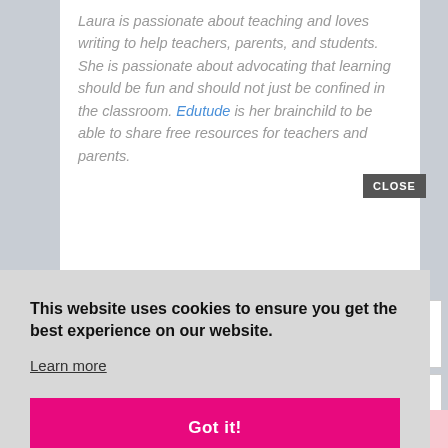Laura is passionate about teaching and loves writing to help teachers, parents, and students. She is passionate about advocating that learning should be fun and should not just be confined in the classroom. Edutude is her brainchild to be able to share free resources for teachers and parents.
CLOSE
This website uses cookies to ensure you get the best experience on our website.
Learn more
Got it!
RESOURCE LIBRARY